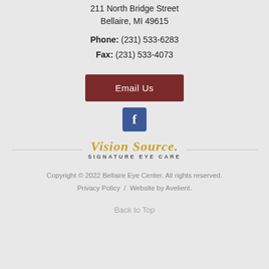211 North Bridge Street
Bellaire, MI 49615
Phone: (231) 533-6283
Fax: (231) 533-4073
[Figure (other): Dark red 'Email Us' button]
[Figure (logo): Facebook icon - blue square with white 'f']
[Figure (logo): Vision Source Signature Eye Care logo in gold/yellow cursive with gray subtitle]
Copyright © 2022 Bellaire Eye Center. All rights reserved.
Privacy Policy  /  Website by Avelient.
Back to Top